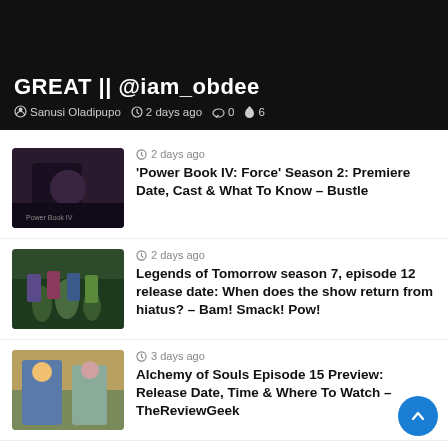[Figure (screenshot): Top banner with dark background showing title 'GREAT || @iam_obdee' with metadata: Sanusi Oladipupo, 2 days ago, 0 comments, 6 fire reactions]
2 days ago
'Power Book IV: Force' Season 2: Premiere Date, Cast & What To Know – Bustle
2 days ago
Legends of Tomorrow season 7, episode 12 release date: When does the show return from hiatus? – Bam! Smack! Pow!
3 days ago
Alchemy of Souls Episode 15 Preview: Release Date, Time & Where To Watch – TheReviewGeek
3 days ago
Alchemy of Souls Episode 16 Preview: Release Date, Time &